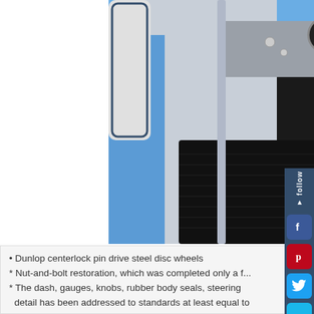[Figure (photo): Interior of a classic MG sports car showing white leather seats with blue trim, black floor mats, chrome steering wheel, dashboard with gauges, and blue exterior visible through open door]
• Dunlop centerlock pin drive steel disc wheels
* Nut-and-bolt restoration, which was completed only a f...
* The dash, gauges, knobs, rubber body seals, steering... detail has been addressed to standards at least equal to... than, those of the MG factory